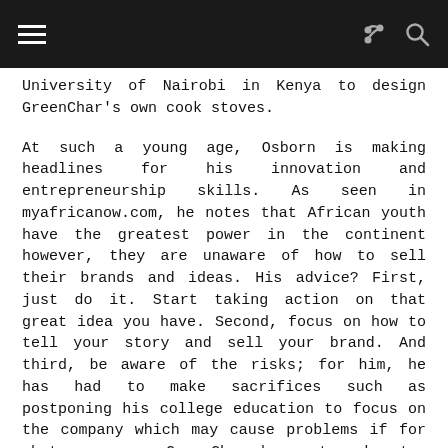University of Nairobi in Kenya to design GreenChar's own cook stoves.
At such a young age, Osborn is making headlines for his innovation and entrepreneurship skills. As seen in myafricanow.com, he notes that African youth have the greatest power in the continent however, they are unaware of how to sell their brands and ideas. His advice? First, just do it. Start taking action on that great idea you have. Second, focus on how to tell your story and sell your brand. And third, be aware of the risks; for him, he has had to make sacrifices such as postponing his college education to focus on the company which may cause problems if for whatever reason GreenChar does not work out.